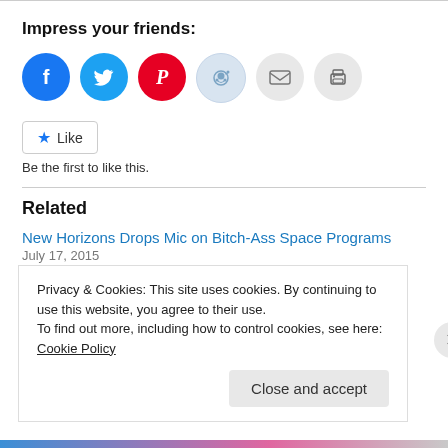Impress your friends:
[Figure (other): Row of social sharing icon circles: Facebook (blue), Twitter (light blue), Pinterest (red), Reddit (pale blue), Email (light grey), Print (light grey)]
[Figure (other): Like button with blue star icon and text 'Like', followed by text 'Be the first to like this.']
Related
New Horizons Drops Mic on Bitch-Ass Space Programs
July 17, 2015
Privacy & Cookies: This site uses cookies. By continuing to use this website, you agree to their use.
To find out more, including how to control cookies, see here: Cookie Policy
Close and accept